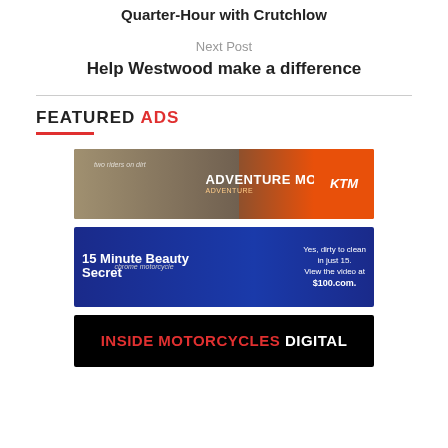Quarter-Hour with Crutchlow
Next Post
Help Westwood make a difference
FEATURED ADS
[Figure (photo): KTM Adventure motorcycle advertisement with text ADVENTURE MORE and KTM logo on orange background with riders]
[Figure (photo): 15 Minute Beauty Secret advertisement on blue background with chrome motorcycle, text: Yes, dirty to clean in just 15. View the video at $100.com.]
[Figure (photo): Inside Motorcycles Digital advertisement with red and white text on black background]